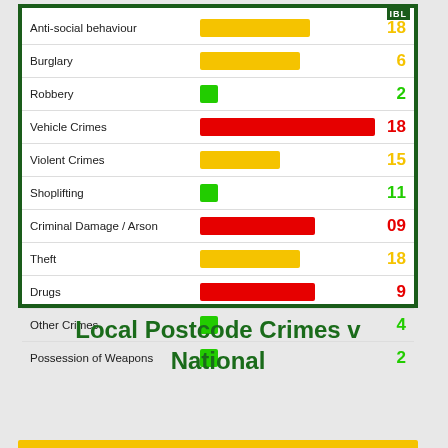[Figure (bar-chart): Local Postcode Crimes v National]
Local Postcode Crimes v National